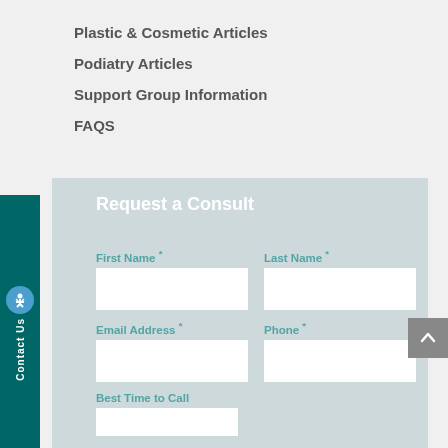Plastic & Cosmetic Articles
Podiatry Articles
Support Group Information
FAQS
Request a Consult
First Name *
Last Name *
Email Address *
Phone *
Best Time to Call